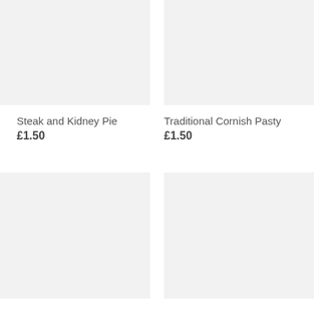[Figure (photo): Placeholder image for Steak and Kidney Pie product]
Steak and Kidney Pie
£1.50
[Figure (photo): Placeholder image for Traditional Cornish Pasty product]
Traditional Cornish Pasty
£1.50
[Figure (photo): Placeholder image for bottom-left product]
[Figure (photo): Placeholder image for bottom-right product]